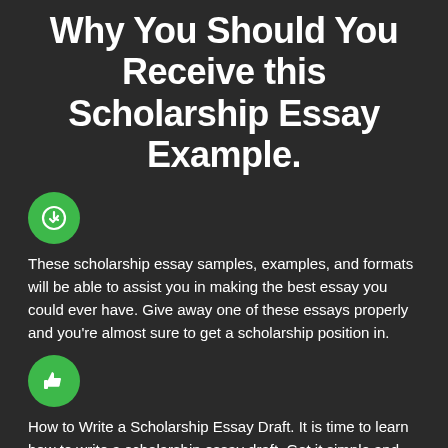Why You Should You Receive this Scholarship Essay Example.
[Figure (illustration): Green circle with white checkmark/clock icon]
These scholarship essay samples, examples, and formats will be able to assist you in making the best essay you could ever have. Give away one of these essays properly and you're almost sure to get a scholarship position in.
[Figure (illustration): Green circle with white thumbs up icon]
How to Write a Scholarship Essay Draft. It is time to learn how to write a scholarship essay draft. Get it simple and with no strict formula. With this step, you will see if all the instructions are clear to you and if there is anything you want to mention in your paper. If you have anything to add, include it in the main content in the nest draft.
[Figure (illustration): Green circle with white leaf/eco icon]